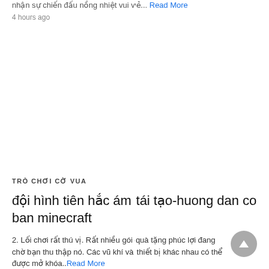nhận sự chiến đấu nồng nhiệt vui vẻ... Read More
4 hours ago
TRÒ CHƠI CỜ VUA
đội hình tiên hắc ám tái tạo-huong dan co ban minecraft
2. Lối chơi rất thú vị. Rất nhiều gói quà tặng phúc lợi đang chờ bạn thu thập nó. Các vũ khí và thiết bị khác nhau có thể được mở khóa.. Read More